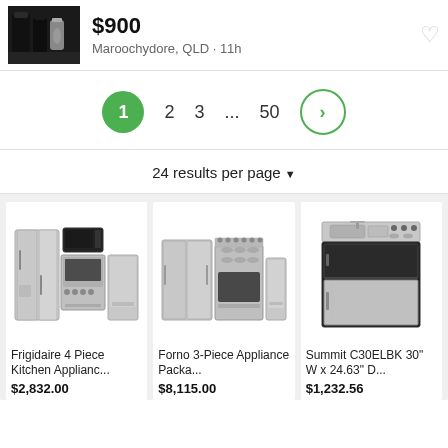$900
Maroochydore, QLD · 11h
1  2  3  ...  50  >
24 results per page ▼
Frigidaire 4 Piece Kitchen Applianc...
$2,832.00
Forno 3-Piece Appliance Packa...
$8,115.00
Summit C30ELBK 30" W x 24.63" D...
$1,232.56